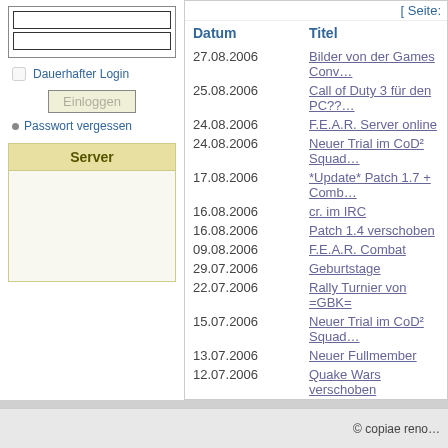[ Seite:
| Datum | Titel |
| --- | --- |
| 27.08.2006 | Bilder von der Games Conv… |
| 25.08.2006 | Call of Duty 3 für den PC??… |
| 24.08.2006 | F.E.A.R. Server online |
| 24.08.2006 | Neuer Trial im CoD² Squad… |
| 17.08.2006 | *Update* Patch 1.7 + Comb… |
| 16.08.2006 | cr. im IRC |
| 16.08.2006 | Patch 1.4 verschoben |
| 09.08.2006 | F.E.A.R. Combat |
| 29.07.2006 | Geburtstage |
| 22.07.2006 | Rally Turnier von =GBK= |
| 15.07.2006 | Neuer Trial im CoD² Squad… |
| 13.07.2006 | Neuer Fullmember |
| 12.07.2006 | Quake Wars verschoben |
| 06.07.2006 | Patch 1.4 - Beta gestartet |
| 01.07.2006 | Linux Server Files |
[ Seite:
Dauerhafter Login
Einloggen
Passwort vergessen
Server
© copiae reno…